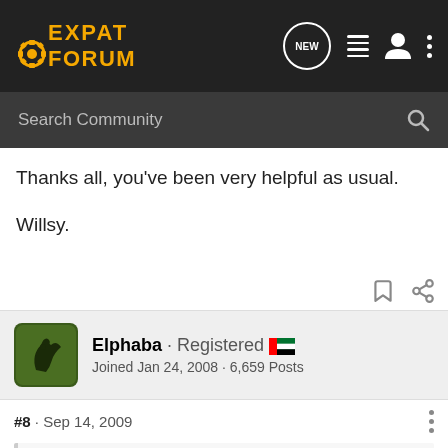EXPAT FORUM
Search Community
Thanks all, you've been very helpful as usual.

Willsy.
Elphaba · Registered 🇦🇪
Joined Jan 24, 2008 · 6,659 Posts
#8 · Sep 14, 2009
marc said: